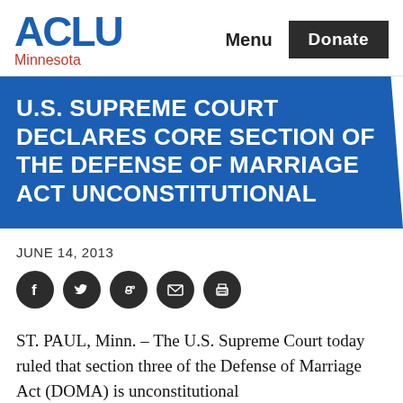ACLU Minnesota | Menu | Donate
U.S. SUPREME COURT DECLARES CORE SECTION OF THE DEFENSE OF MARRIAGE ACT UNCONSTITUTIONAL
JUNE 14, 2013
[Figure (infographic): Social sharing icons: Facebook, Twitter, Reddit, Email, Print]
ST. PAUL, Minn. – The U.S. Supreme Court today ruled that section three of the Defense of Marriage Act (DOMA) is unconstitutional